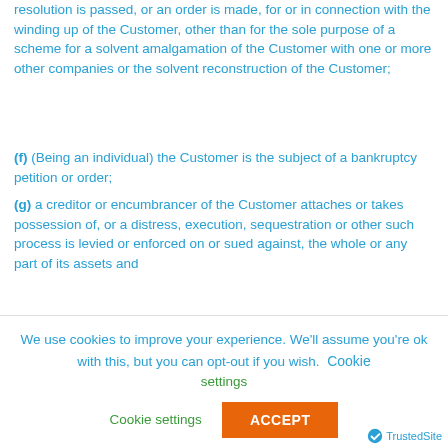resolution is passed, or an order is made, for or in connection with the winding up of the Customer, other than for the sole purpose of a scheme for a solvent amalgamation of the Customer with one or more other companies or the solvent reconstruction of the Customer;
(f) (Being an individual) the Customer is the subject of a bankruptcy petition or order;
(g) a creditor or encumbrancer of the Customer attaches or takes possession of, or a distress, execution, sequestration or other such process is levied or enforced on or sued against, the whole or any part of its assets and
We use cookies to improve your experience. We'll assume you're ok with this, but you can opt-out if you wish. Cookie settings ACCEPT